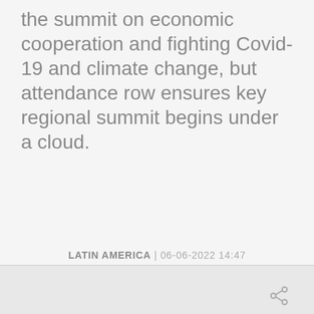the summit on economic cooperation and fighting Covid-19 and climate change, but attendance row ensures key regional summit begins under a cloud.
LATIN AMERICA | 06-06-2022 14:47